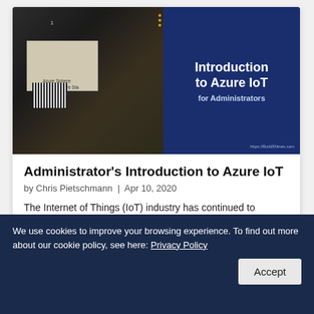[Figure (photo): Cover image for 'Introduction to Azure IoT for Administrators' showing a circuit board (Azure Sphere Starter Kit) on the left and dark blue background with white title text on the right. URL: https://Build5Nines.com]
Administrator's Introduction to Azure IoT
by Chris Pietschmann  |  Apr 10, 2020
The Internet of Things (IoT) industry has continued to
We use cookies to improve your browsing experience. To find out more about our cookie policy, see here: Privacy Policy